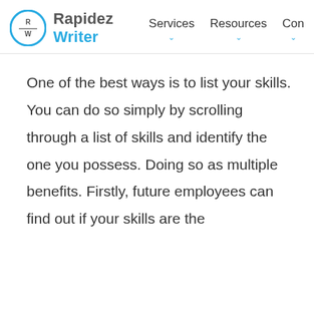Rapidez Writer — Services, Resources, Con
One of the best ways is to list your skills. You can do so simply by scrolling through a list of skills and identify the one you possess. Doing so as multiple benefits. Firstly, future employees can find out if your skills are the